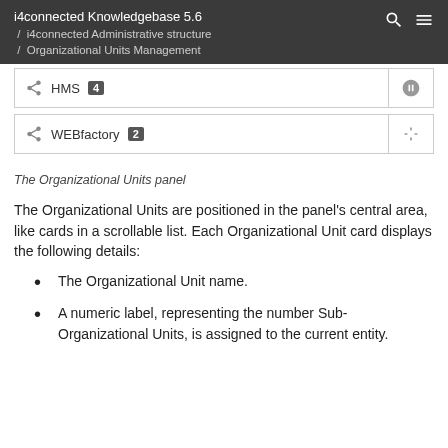i4connected Knowledgebase 5.6 / i4connected Administrative structure / Organizational Units Management
[Figure (screenshot): Two organizational unit cards: HMS with badge 4, WEBfactory with badge 2, each with an org-chart icon on the right]
The Organizational Units panel
The Organizational Units are positioned in the panel's central area, like cards in a scrollable list. Each Organizational Unit card displays the following details:
The Organizational Unit name.
A numeric label, representing the number Sub-Organizational Units, is assigned to the current entity.